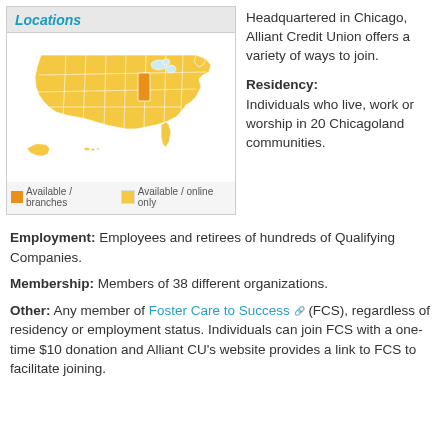[Figure (map): Map of the United States showing Alliant Credit Union availability. Illinois is highlighted in dark orange indicating Available / branches. All other states are in light yellow indicating Available / online only. Alaska and Hawaii are shown inset. Legend: orange square = Available / branches, light yellow square = Available / online only.]
Headquartered in Chicago, Alliant Credit Union offers a variety of ways to join.
Residency: Individuals who live, work or worship in 20 Chicagoland communities.
Employment: Employees and retirees of hundreds of Qualifying Companies.
Membership: Members of 38 different organizations.
Other: Any member of Foster Care to Success (FCS), regardless of residency or employment status. Individuals can join FCS with a one-time $10 donation and Alliant CU's website provides a link to FCS to facilitate joining.